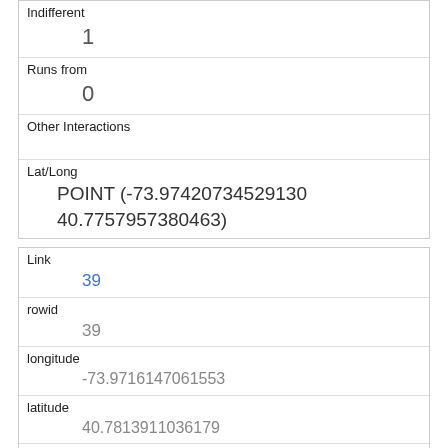| Indifferent | 1 |
| Runs from | 0 |
| Other Interactions |  |
| Lat/Long | POINT (-73.97420734529130 40.7757957380463) |
| Link | 39 |
| rowid | 39 |
| longitude | -73.9716147061553 |
| latitude | 40.7813911036179 |
| Unique Squirrel ID | 18A-PM-1018-01 |
| Hectare | 18A |